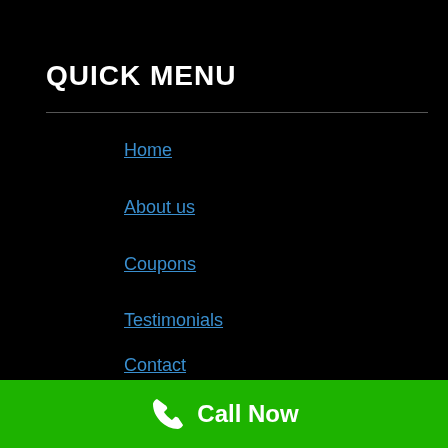QUICK MENU
Home
About us
Coupons
Testimonials
Contact
Call Now